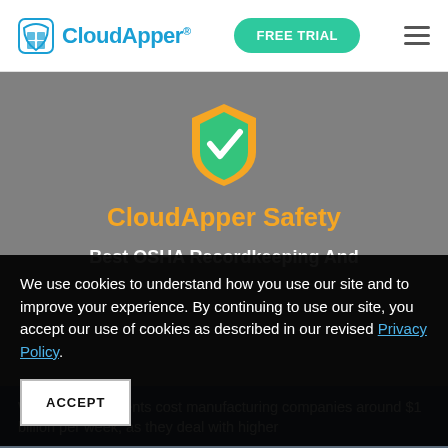CloudApper® | FREE TRIAL
[Figure (logo): CloudApper Safety shield logo - orange and green shield with white checkmark]
CloudApper Safety
Best OSHA Recordkeeping And
We use cookies to understand how you use our site and to improve your experience. By continuing to use our site, you accept our use of cookies as described in our revised Privacy Policy.
ACCEPT
Workplace accidents cost manufacturing companies around $1 billion per week, as they deal with higher